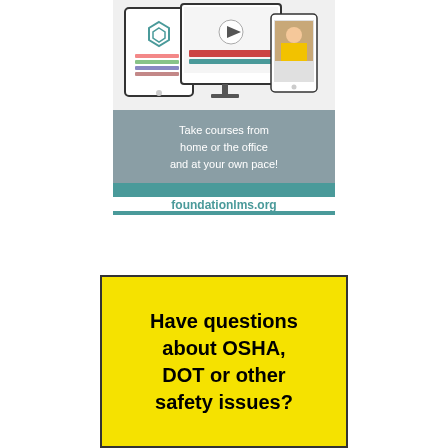[Figure (infographic): Advertisement banner for foundationlms.org showing devices (tablet, monitor, phone) with e-learning content, gray background with text 'Take courses from home or the office and at your own pace!' and teal/white footer with 'foundationlms.org']
[Figure (infographic): Yellow box advertisement with bold black text: 'Have questions about OSHA, DOT or other safety issues?']